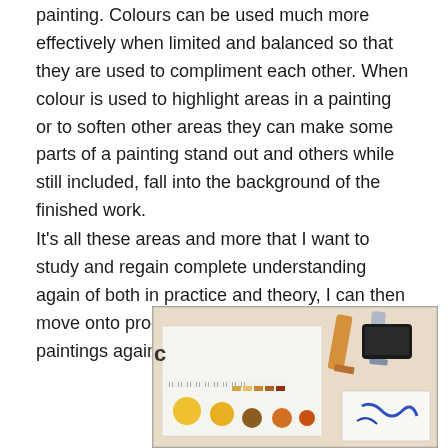painting. Colours can be used much more effectively when limited and balanced so that they are used to compliment each other. When colour is used to highlight areas in a painting or to soften other areas they can make some parts of a painting stand out and others while still included, fall into the background of the finished work.
It's all these areas and more that I want to study and regain complete understanding again of both in practice and theory, I can then move onto producing colour sketches and full paintings again.
[Figure (photo): A photo of art supplies on a table including paint tubes, a colour swatch sheet with circles of yellow, brown, and orange paints, a ruler or measuring strip, a black device (possibly a phone or palette), and a sketchbook with blue painted marks.]